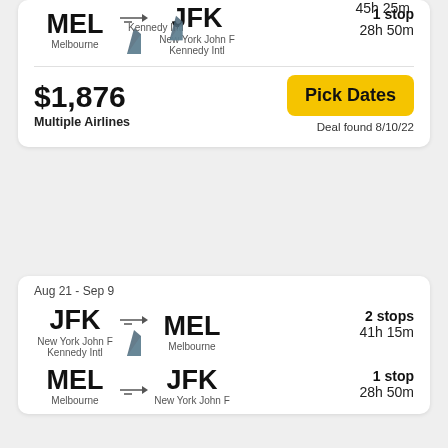MEL → JFK | Melbourne to New York John F Kennedy Intl | 1 stop | 28h 50m
$1,876 | Multiple Airlines | Pick Dates | Deal found 8/10/22
Aug 21 - Sep 9
JFK → MEL | New York John F Kennedy Intl to Melbourne | 2 stops | 41h 15m
MEL → JFK | Melbourne to New York John F | 1 stop | 28h 50m